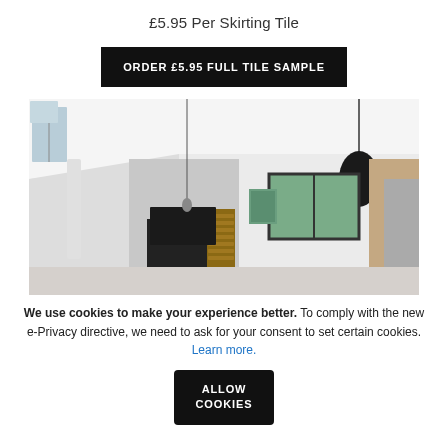£5.95 Per Skirting Tile
ORDER £5.95 FULL TILE SAMPLE
[Figure (photo): Modern open-plan living room with high white vaulted ceiling, marble fireplace, stacked firewood, black pendant lamp, large windows, and kitchen area in background.]
We use cookies to make your experience better. To comply with the new e-Privacy directive, we need to ask for your consent to set certain cookies. Learn more.
ALLOW COOKIES